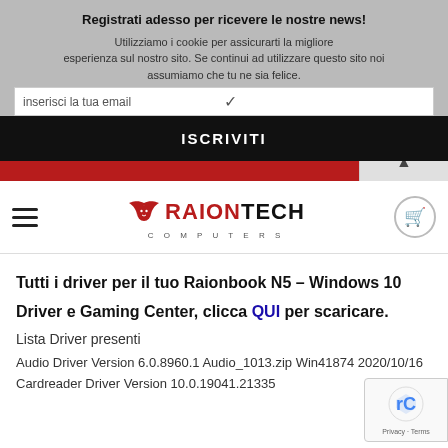Registrati adesso per ricevere le nostre news!
Utilizziamo i cookie per assicurarti la migliore esperienza sul nostro sito. Se continui ad utilizzare questo sito noi assumiamo che tu ne sia felice.
inserisci la tua email
ISCRIVITI
[Figure (logo): RaionTech Computers logo with lion/wing icon, hamburger menu icon, and cart icon]
Tutti i driver per il tuo Raionbook N5 – Windows 10
Driver e Gaming Center, clicca QUI per scaricare.
Lista Driver presenti
Audio Driver Version 6.0.8960.1 Audio_1013.zip Win 41874 2020/10/16
Cardreader Driver Version 10.0.19041.21335